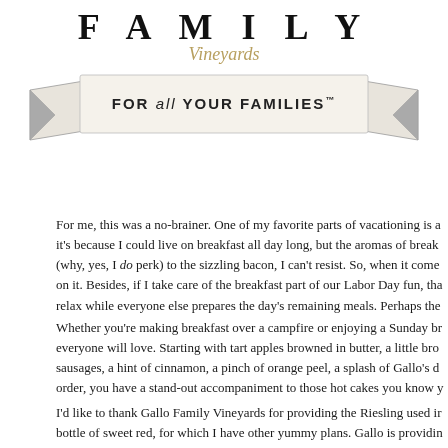[Figure (logo): Gallo Family Vineyards logo with 'FAMILY' text at top, 'Vineyards' in gold script, and a ribbon banner reading 'FOR all YOUR FAMILIES™']
For me, this was a no-brainer. One of my favorite parts of vacationing is a it's because I could live on breakfast all day long, but the aromas of break (why, yes, I do perk) to the sizzling bacon, I can't resist. So, when it come on it. Besides, if I take care of the breakfast part of our Labor Day fun, tha relax while everyone else prepares the day's remaining meals. Perhaps the
Whether you're making breakfast over a campfire or enjoying a Sunday br everyone will love. Starting with tart apples browned in butter, a little bro sausages, a hint of cinnamon, a pinch of orange peel, a splash of Gallo's d order, you have a stand-out accompaniment to those hot cakes you know y
I'd like to thank Gallo Family Vineyards for providing the Riesling used ir bottle of sweet red, for which I have other yummy plans. Gallo is providin this party started. Use the Gallo store locator to find some near you, then e